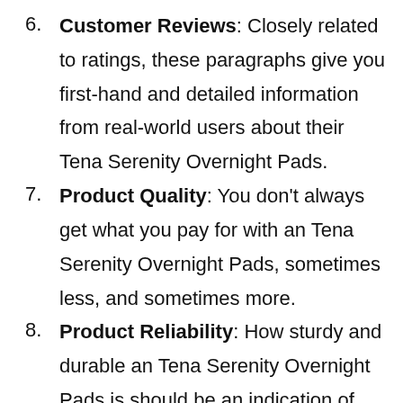Customer Reviews: Closely related to ratings, these paragraphs give you first-hand and detailed information from real-world users about their Tena Serenity Overnight Pads.
Product Quality: You don't always get what you pay for with an Tena Serenity Overnight Pads, sometimes less, and sometimes more.
Product Reliability: How sturdy and durable an Tena Serenity Overnight Pads is should be an indication of how